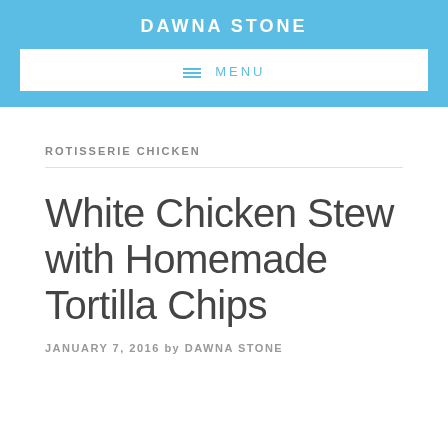DAWNA STONE
≡  MENU
ROTISSERIE CHICKEN
White Chicken Stew with Homemade Tortilla Chips
JANUARY 7, 2016 by DAWNA STONE